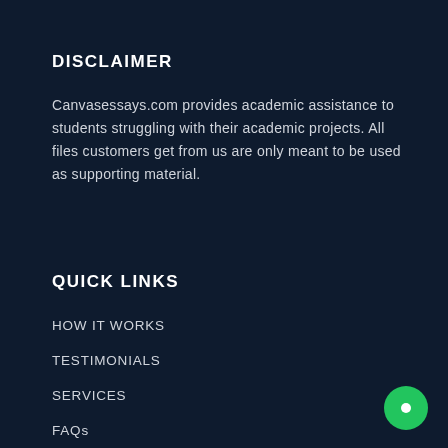DISCLAIMER
Canvasessays.com provides academic assistance to students struggling with their academic projects. All files customers get from us are only meant to be used as supporting material.
QUICK LINKS
HOW IT WORKS
TESTIMONIALS
SERVICES
FAQs